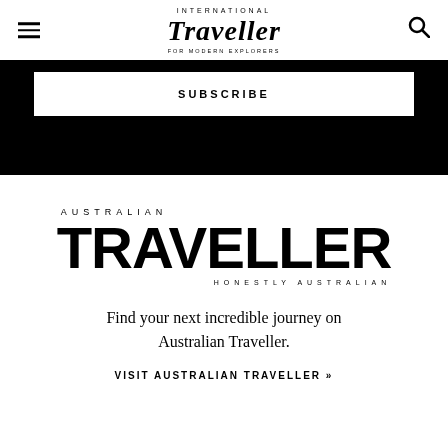International Traveller
SUBSCRIBE
[Figure (logo): Australian Traveller magazine logo with 'AUSTRALIAN' above large 'TRAVELLER' text and 'HONESTLY AUSTRALIAN' below]
Find your next incredible journey on Australian Traveller.
VISIT AUSTRALIAN TRAVELLER »